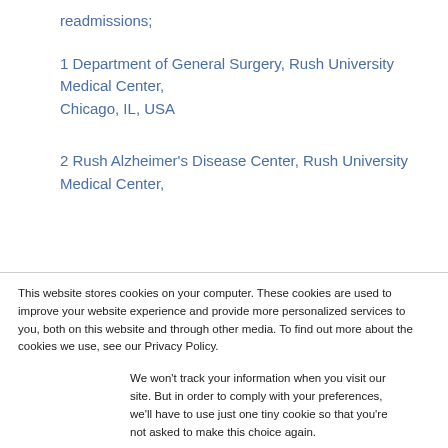readmissions;
1 Department of General Surgery, Rush University Medical Center,
Chicago, IL, USA
2 Rush Alzheimer's Disease Center, Rush University Medical Center,
This website stores cookies on your computer. These cookies are used to improve your website experience and provide more personalized services to you, both on this website and through other media. To find out more about the cookies we use, see our Privacy Policy.
We won't track your information when you visit our site. But in order to comply with your preferences, we'll have to use just one tiny cookie so that you're not asked to make this choice again.